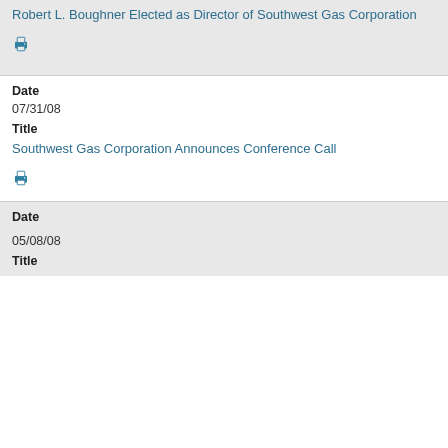Robert L. Boughner Elected as Director of Southwest Gas Corporation
[print icon]
Date
07/31/08
Title
Southwest Gas Corporation Announces Conference Call
[print icon]
Date
05/08/08
Title